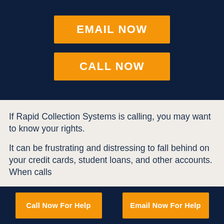[Figure (other): Dark navy banner with two orange call-to-action buttons: EMAIL NOW and CALL NOW]
If Rapid Collection Systems is calling, you may want to know your rights.
It can be frustrating and distressing to fall behind on your credit cards, student loans, and other accounts. When calls
Call Now For Help   Email Now For Help